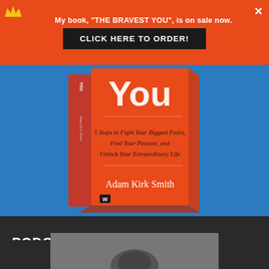My book, "THE BRAVEST YOU", is on sale now.
CLICK HERE TO ORDER!
[Figure (photo): Book cover of 'The Bravest You' by Adam Kirk Smith — orange cover with subtitle '5 Steps to Fight Your Biggest Fears, Find Your Passion, and Unlock Your Extraordinary Life', displayed on a blue background]
PODCAST: IDEAS
[Figure (photo): Grayscale thumbnail image, partially visible at bottom of page, appears to show a podcast episode thumbnail]